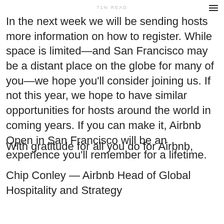71% READ
In the next week we will be sending hosts more information on how to register. While space is limited—and San Francisco may be a distant place on the globe for many of you—we hope you'll consider joining us. If not this year, we hope to have similar opportunities for hosts around the world in coming years. If you can make it, Airbnb Open in San Francisco will be an experience you'll remember for a lifetime.
With gratitude for all you do for Airbnb,
Chip Conley — Airbnb Head of Global Hospitality and Strategy